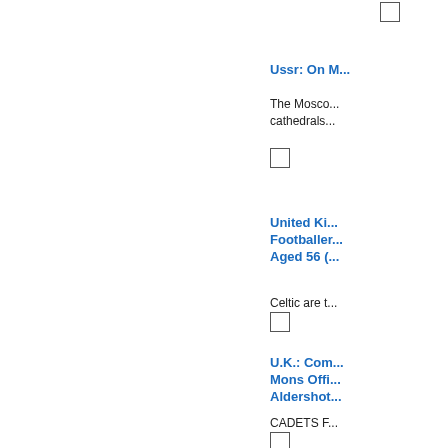[Figure (other): Checkbox at top of page]
Ussr: On M...
The Mosco... cathedrals...
[Figure (other): Checkbox]
United Kin... Footballer... Aged 56 (...
Celtic are t...
[Figure (other): Checkbox]
U.K.: Com... Mons Offi... Aldershot...
CADETS F...
[Figure (other): Checkbox]
Unknown:...
A new bree... hikistan as...